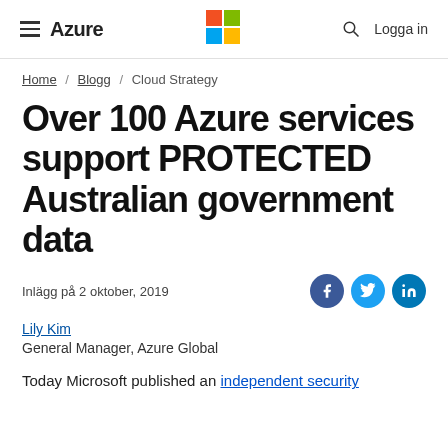≡ Azure  [Microsoft Logo]  🔍  Logga in
Home / Blogg / Cloud Strategy
Over 100 Azure services support PROTECTED Australian government data
Inlägg på 2 oktober, 2019
Lily Kim
General Manager, Azure Global
Today Microsoft published an independent security